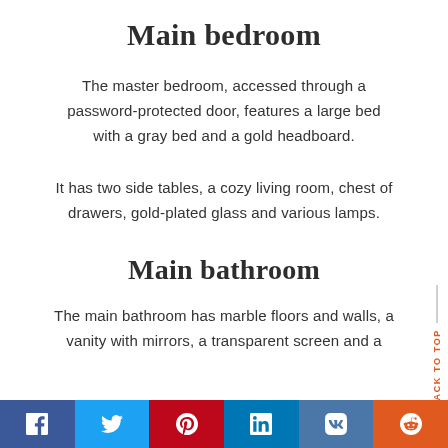Main bedroom
The master bedroom, accessed through a password-protected door, features a large bed with a gray bed and a gold headboard.
It has two side tables, a cozy living room, chest of drawers, gold-plated glass and various lamps.
Main bathroom
The main bathroom has marble floors and walls, a vanity with mirrors, a transparent screen and a
f  t  p  in  vk  reddit